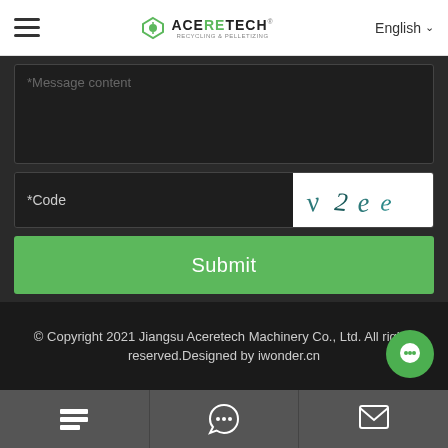ACERETECH | English
* Message content
*Code  [captcha: v2e e]
Submit
© Copyright 2021 Jiangsu Aceretech Machinery Co., Ltd. All rights reserved.Designed by iwonder.cn